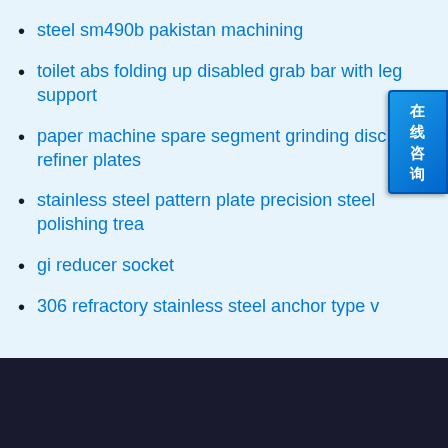steel sm490b pakistan machining
toilet abs folding up disabled grab bar with leg support
paper machine spare segment grinding disc refiner plates
stainless steel pattern plate precision steel polishing trea
gi reducer socket
306 refractory stainless steel anchor type v